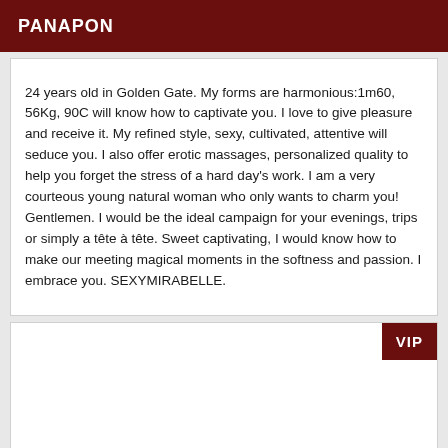PANAPON
24 years old in Golden Gate. My forms are harmonious:1m60, 56Kg, 90C will know how to captivate you. I love to give pleasure and receive it. My refined style, sexy, cultivated, attentive will seduce you. I also offer erotic massages, personalized quality to help you forget the stress of a hard day's work. I am a very courteous young natural woman who only wants to charm you! Gentlemen. I would be the ideal campaign for your evenings, trips or simply a tête à tête. Sweet captivating, I would know how to make our meeting magical moments in the softness and passion. I embrace you. SEXYMIRABELLE.
[Figure (other): Empty card section with VIP badge in top-right corner]